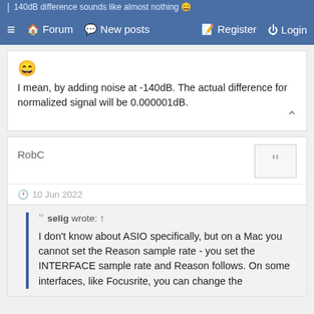140dB difference sounds like almost nothing 😄 | Forum | New posts | Register | Login
😄
I mean, by adding noise at -140dB. The actual difference for normalized signal will be 0.000001dB.
RobC
10 Jun 2022
" selig wrote: ↑
I don't know about ASIO specifically, but on a Mac you cannot set the Reason sample rate - you set the INTERFACE sample rate and Reason follows. On some interfaces, like Focusrite, you can change the